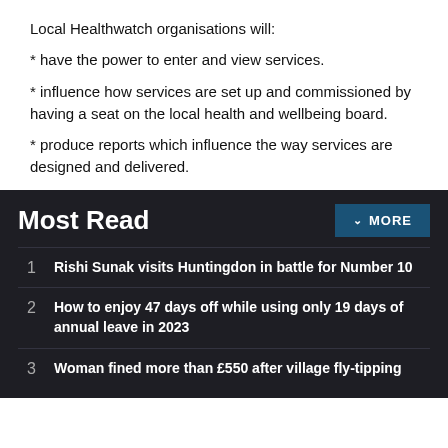Local Healthwatch organisations will:
* have the power to enter and view services.
* influence how services are set up and commissioned by having a seat on the local health and wellbeing board.
* produce reports which influence the way services are designed and delivered.
Most Read
1  Rishi Sunak visits Huntingdon in battle for Number 10
2  How to enjoy 47 days off while using only 19 days of annual leave in 2023
3  Woman fined more than £550 after village fly-tipping